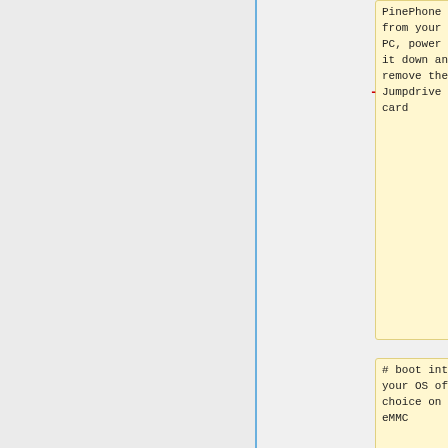PinePhone from your PC, power it down and remove the Jumpdrive SD card
# boot into your OS of choice on eMMC
The Jumpdrive image is smaller than 50MB. You can keep an SD card specifically for using
Latest Jumpdrive can be found [https://github.com/dreemurrs-embedded/Jumpdrive/relea